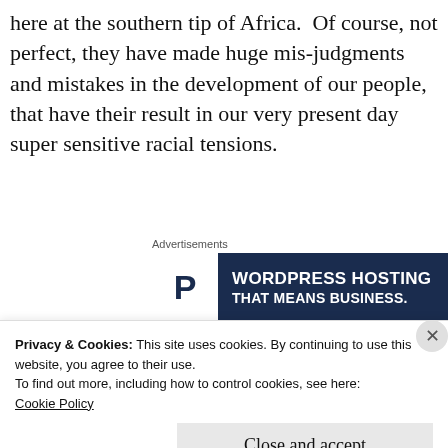here at the southern tip of Africa.  Of course, not perfect, they have made huge mis-judgments and mistakes in the development of our people, that have their result in our very present day super sensitive racial tensions.
Advertisements
[Figure (other): WordPress Hosting advertisement banner with dark navy background, white P logo box, text 'WORDPRESS HOSTING THAT MEANS BUSINESS.' and an OPEN sign image on the right]
We are a very complex and
Privacy & Cookies: This site uses cookies. By continuing to use this website, you agree to their use.
To find out more, including how to control cookies, see here:
Cookie Policy
Close and accept